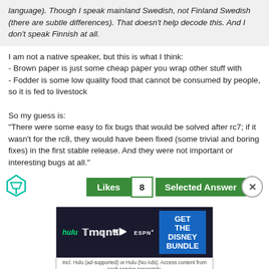language). Though I speak mainland Swedish, not Finland Swedish (there are subtle differences). That doesn't help decode this. And I don't speak Finnish at all.
I am not a native speaker, but this is what I think:
- Brown paper is just some cheap paper you wrap other stuff with
- Fodder is some low quality food that cannot be consumed by people, so it is fed to livestock

So my guess is:
"There were some easy to fix bugs that would be solved after rc7; if it wasn't for the rc8, they would have been fixed (some trivial and boring fixes) in the first stable release. And they were not important or interesting bugs at all."
[Figure (screenshot): Likes button (count 8) and Selected Answer button with close icon, and a triangle/filter icon on the left]
[Figure (screenshot): Hulu Disney+ ESPN+ Get the Disney Bundle advertisement banner]